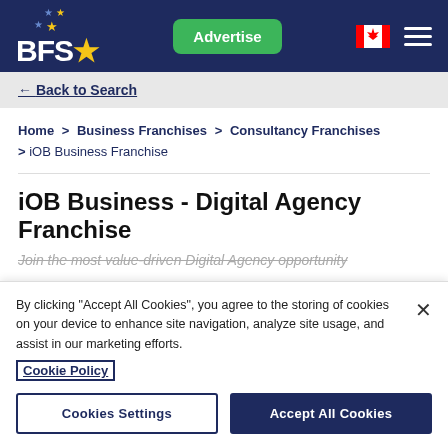BFS — Business Franchise Search header with Advertise button, Canadian flag, and hamburger menu
← Back to Search
Home > Business Franchises > Consultancy Franchises > iOB Business Franchise
iOB Business - Digital Agency Franchise
Join the most value-driven Digital Agency opportunity
By clicking "Accept All Cookies", you agree to the storing of cookies on your device to enhance site navigation, analyze site usage, and assist in our marketing efforts.
Cookie Policy
Cookies Settings
Accept All Cookies